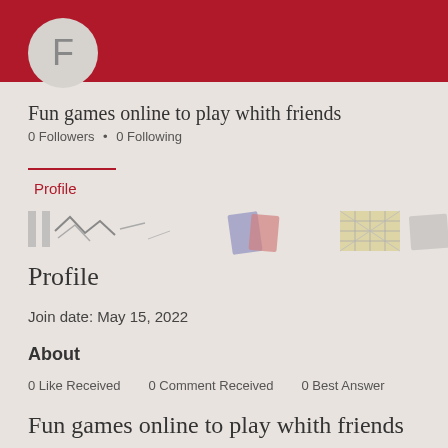[Figure (illustration): Dark red header bar with circular avatar showing letter F]
Fun games online to play whith friends
0 Followers • 0 Following
Profile
[Figure (illustration): Horizontal strip of board game pieces and tiles]
Profile
Join date: May 15, 2022
About
0 Like Received   0 Comment Received   0 Best Answer
Fun games online to play whith friends